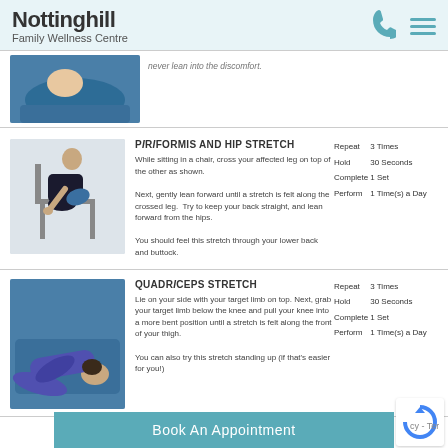Nottinghill Family Wellness Centre
[Figure (photo): Partial view of a person lying on a blue exercise mat performing a stretch]
PIRIFORMIS AND HIP STRETCH
While sitting in a chair, cross your affected leg on top of the other as shown.

Next, gently lean forward until a stretch is felt along the crossed leg. Try to keep your back straight, and lean forward from the hips.

You should feel this stretch through your lower back and buttock.
| Repeat | 3 Times |
| Hold | 30 Seconds |
| Complete | 1 Set |
| Perform | 1 Time(s) a Day |
[Figure (photo): Person sitting in a chair leaning forward to perform piriformis and hip stretch]
QUADRICEPS STRETCH
Lie on your side with your target limb on top. Next, grab your target limb below the knee and pull your knee into a more bent position until a stretch is felt along the front of your thigh.

You can also try this stretch standing up (if that's easier for you!)
| Repeat | 3 Times |
| Hold | 30 Seconds |
| Complete | 1 Set |
| Perform | 1 Time(s) a Day |
[Figure (photo): Person lying on side on blue mat performing quadriceps stretch]
Book An Appointment